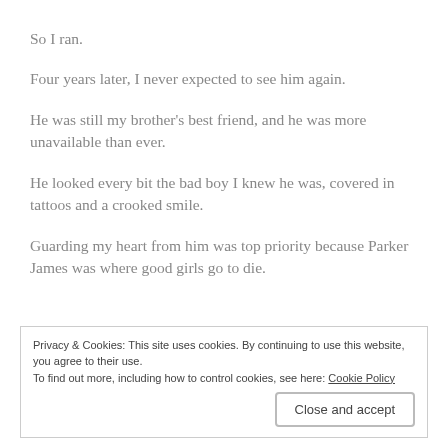So I ran.
Four years later, I never expected to see him again.
He was still my brother's best friend, and he was more unavailable than ever.
He looked every bit the bad boy I knew he was, covered in tattoos and a crooked smile.
Guarding my heart from him was top priority because Parker James was where good girls go to die.
Privacy & Cookies: This site uses cookies. By continuing to use this website, you agree to their use.
To find out more, including how to control cookies, see here: Cookie Policy
Close and accept